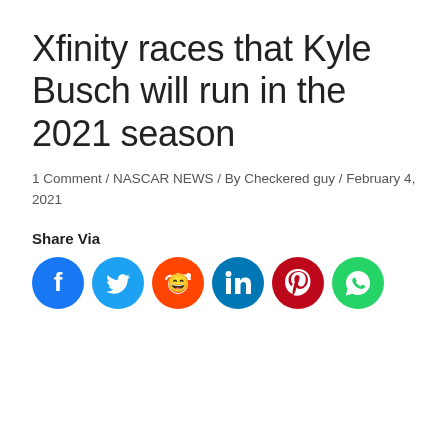Xfinity races that Kyle Busch will run in the 2021 season
1 Comment / NASCAR NEWS / By Checkered guy / February 4, 2021
Share Via
[Figure (infographic): Six social media share icons in a row: Facebook (dark blue), Twitter (light blue), Reddit (orange), LinkedIn (dark blue), Pinterest (dark red), WhatsApp (green)]